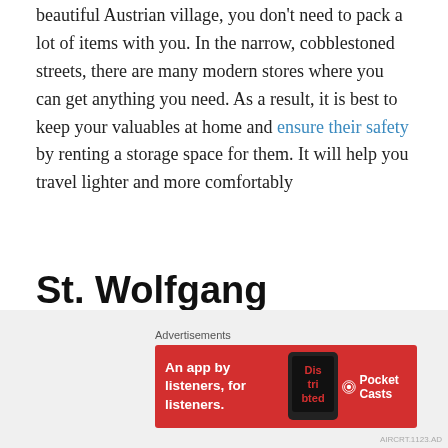beautiful Austrian village, you don't need to pack a lot of items with you. In the narrow, cobblestoned streets, there are many modern stores where you can get anything you need. As a result, it is best to keep your valuables at home and ensure their safety by renting a storage space for them. It will help you travel lighter and more comfortably
St. Wolfgang
St. Wolfgang is another of the charming villages in Austria that you can visit for a cozy winter vacation. You can find this typical Austrian village on the banks of lake Wolfganesse, surrounded by breathtaking mountains. It
[Figure (other): Advertisement banner for Pocket Casts podcast app with red background, showing text 'An app by listeners, for listeners.' alongside Pocket Casts logo and an image of a phone.]